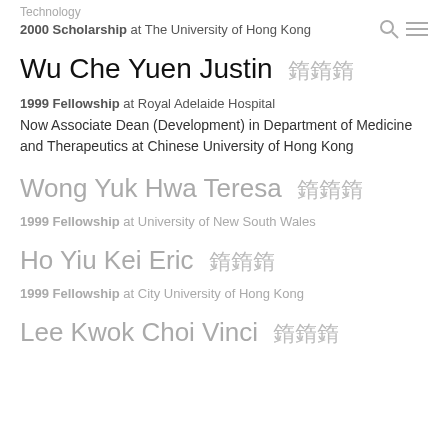Technology
2000 Scholarship at The University of Hong Kong
Wu Che Yuen Justin 胡志遠
1999 Fellowship at Royal Adelaide Hospital
Now Associate Dean (Development) in Department of Medicine and Therapeutics at Chinese University of Hong Kong
Wong Yuk Hwa Teresa 黃玉華
1999 Fellowship at University of New South Wales
Ho Yiu Kei Eric 何耀基
1999 Fellowship at City University of Hong Kong
Lee Kwok Choi Vinci 李國才